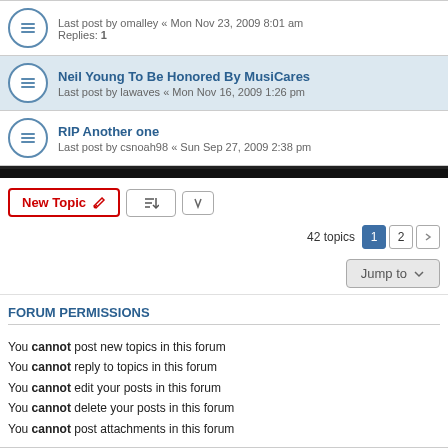Last post by omalley « Mon Nov 23, 2009 8:01 am
Replies: 1
Neil Young To Be Honored By MusiCares
Last post by lawaves « Mon Nov 16, 2009 1:26 pm
RIP Another one
Last post by csnoah98 « Sun Sep 27, 2009 2:38 pm
New Topic | sort | 42 topics 1 2 >
Jump to
FORUM PERMISSIONS
You cannot post new topics in this forum
You cannot reply to topics in this forum
You cannot edit your posts in this forum
You cannot delete your posts in this forum
You cannot post attachments in this forum
Board index | All times are UTC-07:00
Powered by phpBB® Forum Software © phpBB Limited